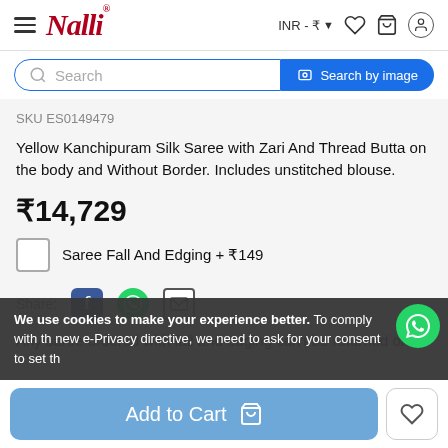Nalli — INR ₹
Search
SKU ES0149479
Yellow Kanchipuram Silk Saree with Zari And Thread Butta on the body and Without Border. Includes unstitched blouse.
₹14,729
Saree Fall And Edging + ₹149
Share:
Any saree ordered with fall and edging can't be returned or
We use cookies to make your experience better. To comply with the new e-Privacy directive, we need to ask for your consent to set th
Add to Cart